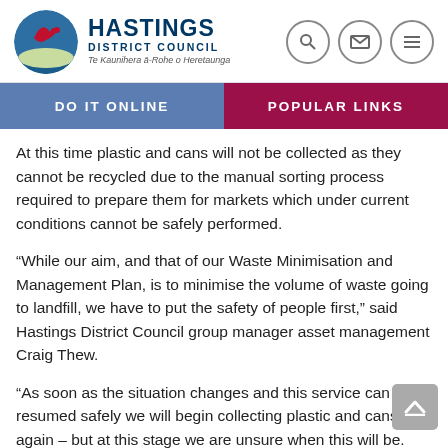Hastings District Council — Te Kaunihera ā-Rohe o Heretaunga
DO IT ONLINE | POPULAR LINKS
At this time plastic and cans will not be collected as they cannot be recycled due to the manual sorting process required to prepare them for markets which under current conditions cannot be safely performed.
“While our aim, and that of our Waste Minimisation and Management Plan, is to minimise the volume of waste going to landfill, we have to put the safety of people first,” said Hastings District Council group manager asset management Craig Thew.
“As soon as the situation changes and this service can be resumed safely we will begin collecting plastic and cans again – but at this stage we are unsure when this will be.